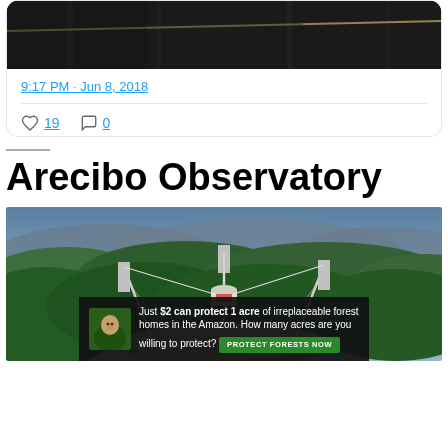[Figure (photo): Bottom portion of a Twitter/social media post showing a dark close-up photo (partial view, cropped at top)]
9:17 PM · Jun 8, 2018
19 likes, 0 comments
Arecibo Observatory
[Figure (photo): Aerial photograph of Arecibo Observatory radio telescope dish nestled in forested hills in Puerto Rico, with support towers and cables visible]
[Figure (infographic): Advertisement banner: 'Just $2 can protect 1 acre of irreplaceable forest homes in the Amazon. How many acres are you willing to protect?' with a Protect Forests Now button]